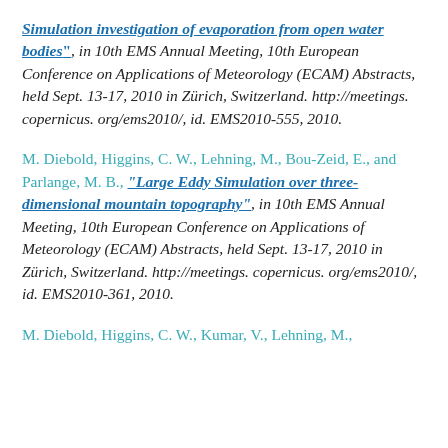"Simulation investigation of evaporation from open water bodies", in 10th EMS Annual Meeting, 10th European Conference on Applications of Meteorology (ECAM) Abstracts, held Sept. 13-17, 2010 in Zürich, Switzerland. http://meetings.copernicus.org/ems2010/, id. EMS2010-555, 2010.
M. Diebold, Higgins, C. W., Lehning, M., Bou-Zeid, E., and Parlange, M. B., "Large Eddy Simulation over three-dimensional mountain topography", in 10th EMS Annual Meeting, 10th European Conference on Applications of Meteorology (ECAM) Abstracts, held Sept. 13-17, 2010 in Zürich, Switzerland. http://meetings.copernicus.org/ems2010/, id. EMS2010-361, 2010.
M. Diebold, Higgins, C. W., Kumar, V., Lehning, M., ...